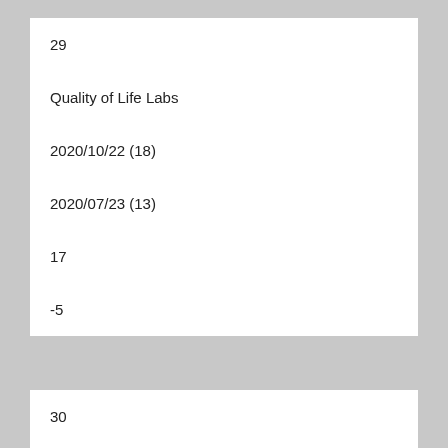| 29 |
| Quality of Life Labs |
| 2020/10/22 (18) |
| 2020/07/23 (13) |
| 17 |
| -5 |
| 30 |
| Organic India |
| 2020/11/05 (16) |